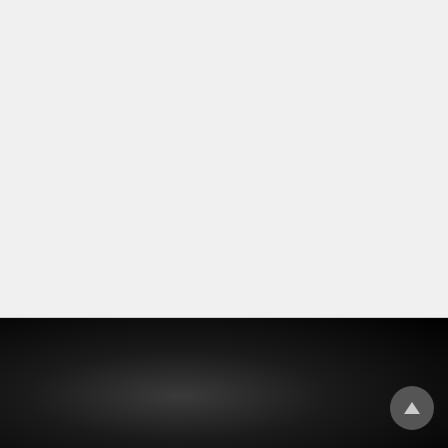[Figure (screenshot): Light gray empty top section of a webpage]
About us
'Where Are They Now' is compiled by enthusiastic football fans and we